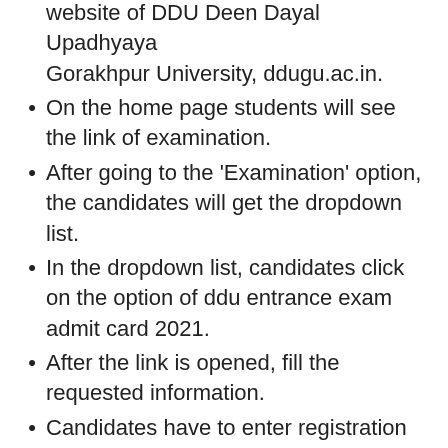website of DDU Deen Dayal Upadhyaya Gorakhpur University, ddugu.ac.in.
On the home page students will see the link of examination.
After going to the ‘Examination’ option, the candidates will get the dropdown list.
In the dropdown list, candidates click on the option of ddu entrance exam admit card 2021.
After the link is opened, fill the requested information.
Candidates have to enter registration number and date of birth here.
After filling the requested information, press the submit button.
Now the candidates will get the DDU Admit Card.
Candidates should check the admit card once